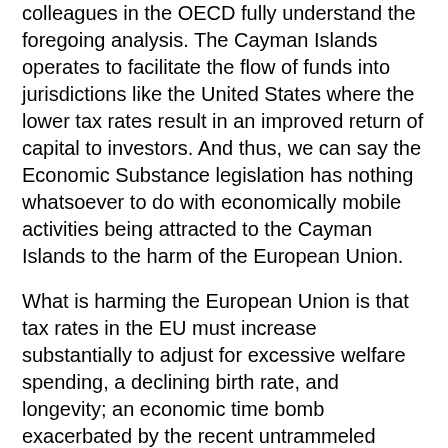colleagues in the OECD fully understand the foregoing analysis. The Cayman Islands operates to facilitate the flow of funds into jurisdictions like the United States where the lower tax rates result in an improved return of capital to investors. And thus, we can say the Economic Substance legislation has nothing whatsoever to do with economically mobile activities being attracted to the Cayman Islands to the harm of the European Union.
What is harming the European Union is that tax rates in the EU must increase substantially to adjust for excessive welfare spending, a declining birth rate, and longevity; an economic time bomb exacerbated by the recent untrammeled immigration. The problem the EU has is not with the Cayman Islands but with the United States and other jurisdictions which not only see low taxes and smaller government as not harmful but also entirely beneficial in promoting economic growth. This barefaced EU attempt at extraterritorial tax legislation has nothing to do with the absence of taxation in the Cayman Islands but everything to do with the Tax Cuts and Jobs Act 2017 and the reduction in tax rates in the United States. There is little doubt either about the upward direction of EU tax rates.
President Macron recently renewed calls for the introduction in Europe of Common Consolidated Corporate Tax Base